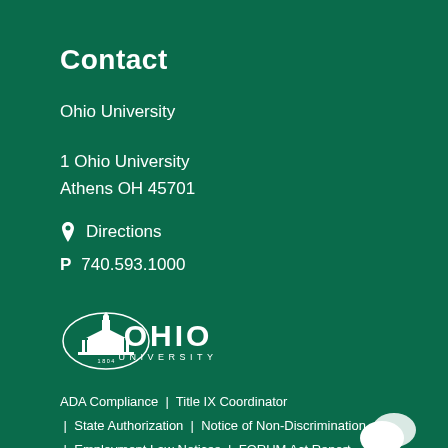Contact
Ohio University
1 Ohio University
Athens OH 45701
Directions
P  740.593.1000
[Figure (logo): Ohio University logo — building icon inside oval with '1804' text, followed by 'OHIO UNIVERSITY' wordmark in white]
ADA Compliance  |  Title IX Coordinator  |  State Authorization  |  Notice of Non-Discrimination  |  Employment Law Notices  |  FORUM Act Report  |  Privacy Statement